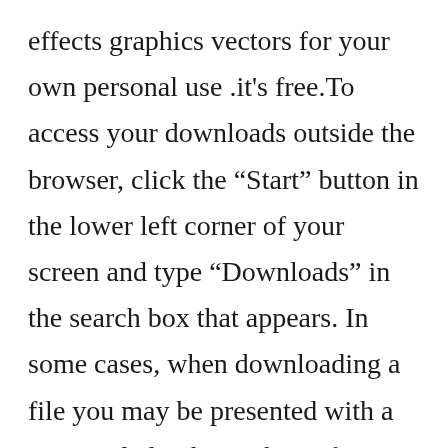effects graphics vectors for your own personal use .it's free.To access your downloads outside the browser, click the “Start” button in the lower left corner of your screen and type “Downloads” in the search box that appears. In some cases, when downloading a file you may be presented with a pop-up dialog box asking if you want to Save the file or Run the file. If you select the Save option and can specify where to save the file you can choose the Desktop, Documents folder, or any location that fits best.